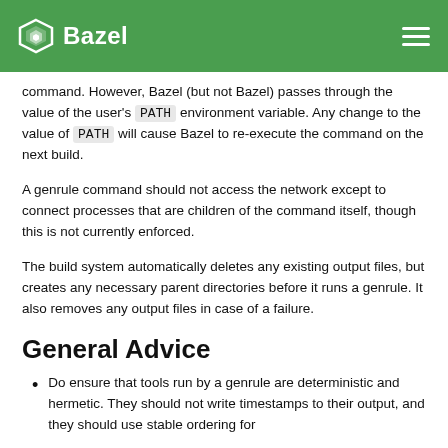Bazel
command. However, Bazel (but not Bazel) passes through the value of the user's PATH environment variable. Any change to the value of PATH will cause Bazel to re-execute the command on the next build.
A genrule command should not access the network except to connect processes that are children of the command itself, though this is not currently enforced.
The build system automatically deletes any existing output files, but creates any necessary parent directories before it runs a genrule. It also removes any output files in case of a failure.
General Advice
Do ensure that tools run by a genrule are deterministic and hermetic. They should not write timestamps to their output, and they should use stable ordering for